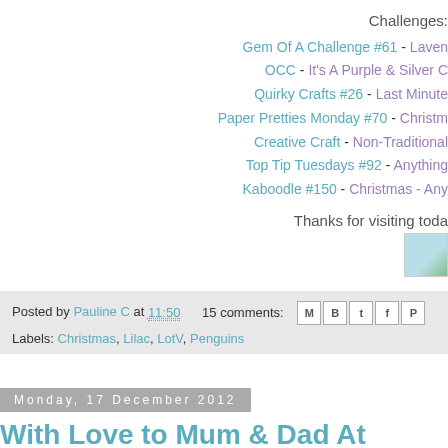Challenges:
Gem Of A Challenge #61 - Laven...
OCC - It's A Purple & Silver C...
Quirky Crafts #26 - Last Minute...
Paper Pretties Monday #70 - Christm...
Creative Craft - Non-Traditional...
Top Tip Tuesdays #92 - Anything...
Kaboodle #150 - Christmas - Any...
Thanks for visiting toda...
[Figure (photo): Small image/icon placeholder]
Posted by Pauline C at 11:50   15 comments:
Labels: Christmas, Lilac, LotV, Penguins
Monday, 17 December 2012
With Love to Mum & Dad At Christmas